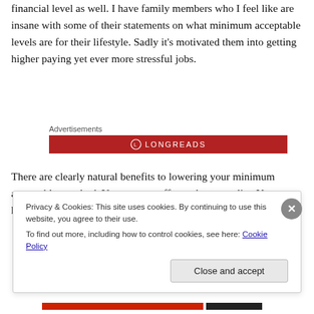financial level as well. I have family members who I feel like are insane with some of their statements on what minimum acceptable levels are for their lifestyle. Sadly it's motivated them into getting higher paying yet ever more stressful jobs.
[Figure (other): Advertisements banner with Longreads logo on red background]
There are clearly natural benefits to lowering your minimum acceptable standard. You can pay off your house earlier. You can have newer and more reliable
Privacy & Cookies: This site uses cookies. By continuing to use this website, you agree to their use.
To find out more, including how to control cookies, see here: Cookie Policy
Close and accept